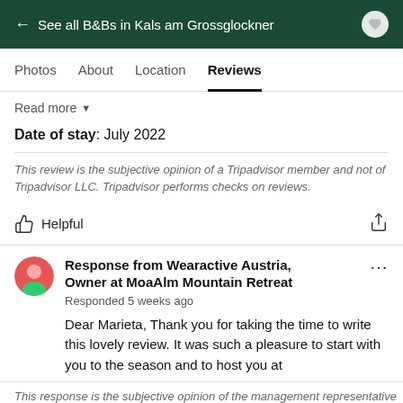← See all B&Bs in Kals am Grossglockner
Photos  About  Location  Reviews
Read more ▾
Date of stay: July 2022
This review is the subjective opinion of a Tripadvisor member and not of Tripadvisor LLC. Tripadvisor performs checks on reviews.
Helpful
Response from Wearactive Austria, Owner at MoaAlm Mountain Retreat
Responded 5 weeks ago
Dear Marieta, Thank you for taking the time to write this lovely review. It was such a pleasure to start with you to the season and to host you at
Read more ▾
This response is the subjective opinion of the management representative